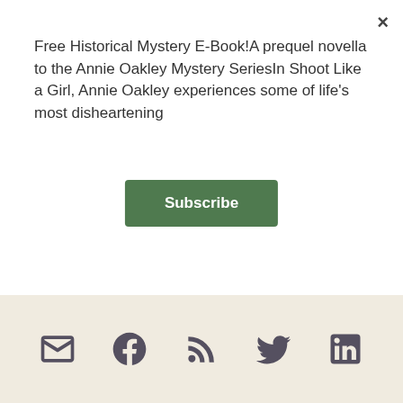Free Historical Mystery E-Book! A prequel novella to the Annie Oakley Mystery Series In Shoot Like a Girl, Annie Oakley experiences some of life's most disheartening
Subscribe
INSPIRATION, INSPIRATION FOR WRITING, INSPIRATION WITHIN, LOSS AND INSPIRATION, LOSS AND WRITING, PAINTING, WRITER'S BLOCK, WRITERS, WRITING, WRITING LIFE, WRITING TOOLS
LEAVE A COMMENT
[Figure (other): Social media icons row: email/envelope, Facebook, RSS feed, Twitter, LinkedIn on a beige background]